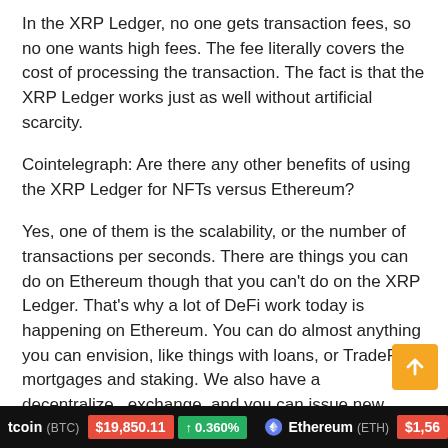In the XRP Ledger, no one gets transaction fees, so no one wants high fees. The fee literally covers the cost of processing the transaction. The fact is that the XRP Ledger works just as well without artificial scarcity.
Cointelegraph: Are there any other benefits of using the XRP Ledger for NFTs versus Ethereum?
Yes, one of them is the scalability, or the number of transactions per seconds. There are things you can do on Ethereum though that you can't do on the XRP Ledger. That's why a lot of DeFi work today is happening on Ethereum. You can do almost anything you can envision, like things with loans, or TradeFi, or mortgages and staking. We also have a decentralized exchange, and you can issue new tokens. Payments
tcoin (BTC)  $19,850.11  ↑ 0.360%    Ethereum (ETH)  $1,56